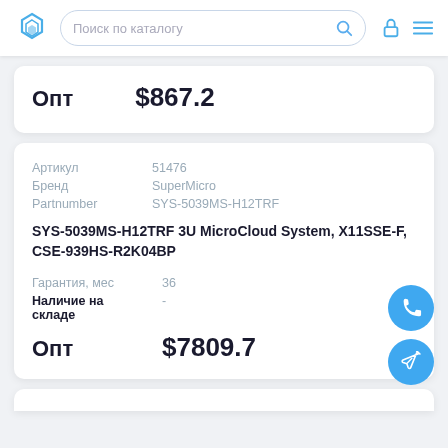[Figure (screenshot): Website header with logo, search bar 'Поиск по каталогу', lock icon and menu icon]
Опт  $867.2
| Артикул | 51476 |
| --- | --- |
| Бренд | SuperMicro |
| Partnumber | SYS-5039MS-H12TRF |
SYS-5039MS-H12TRF 3U MicroCloud System, X11SSE-F, CSE-939HS-R2K04BP
| Гарантия, мес | 36 |
| Наличие на складе | - |
| Опт | $7809.7 |